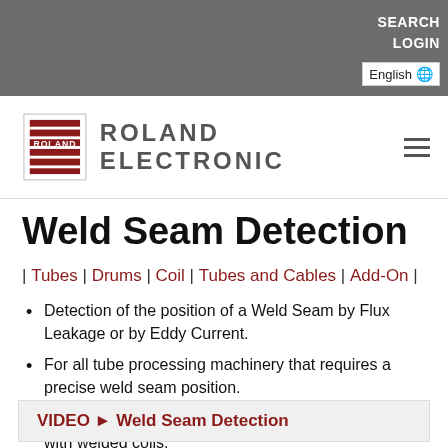SEARCH LOGIN English
[Figure (logo): Roland Electronic logo — red striped square with ROLAND text and ROLAND ELECTRONIC wordmark]
Weld Seam Detection
| Tubes | Drums | Coil | Tubes and Cables | Add-On |
Detection of the position of a Weld Seam by Flux Leakage or by Eddy Current.
For all tube processing machinery that requires a precise weld seam position.
For all punching and cut-to-length facilities working with welded coils.
VIDEO ► Weld Seam Detection